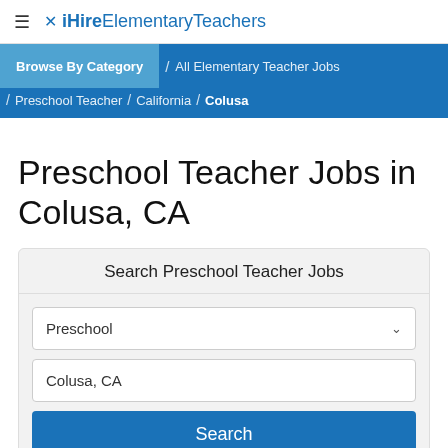≡ ✕ iHireElementaryTeachers
Browse By Category / All Elementary Teacher Jobs / Preschool Teacher / California / Colusa
Preschool Teacher Jobs in Colusa, CA
Search Preschool Teacher Jobs
Preschool (dropdown)
Colusa, CA (input)
Search (button)